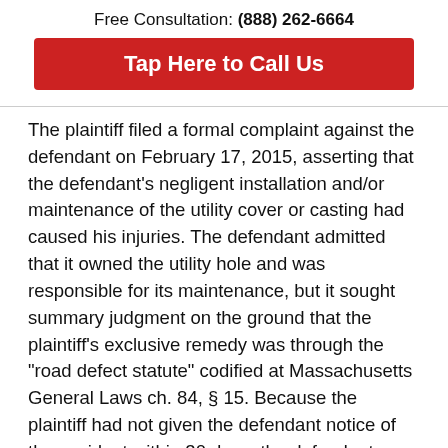Free Consultation: (888) 262-6664
Tap Here to Call Us
The plaintiff filed a formal complaint against the defendant on February 17, 2015, asserting that the defendant's negligent installation and/or maintenance of the utility cover or casting had caused his injuries. The defendant admitted that it owned the utility hole and was responsible for its maintenance, but it sought summary judgment on the ground that the plaintiff's exclusive remedy was through the “road defect statute” codified at Massachusetts General Laws ch. 84, § 15. Because the plaintiff had not given the defendant notice of the accident within 30 days, the defendant argued